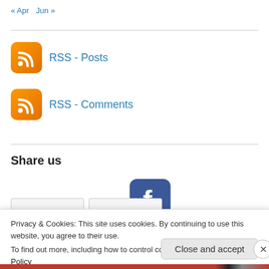« Apr  Jun »
[Figure (logo): RSS icon - orange rounded square with RSS signal symbol]
RSS - Posts
[Figure (logo): RSS icon - orange rounded square with RSS signal symbol]
RSS - Comments
Share us
[Figure (logo): Facebook app icon - dark blue rounded square with white 'f' letter]
Privacy & Cookies: This site uses cookies. By continuing to use this website, you agree to their use.
To find out more, including how to control cookies, see here: Cookie Policy